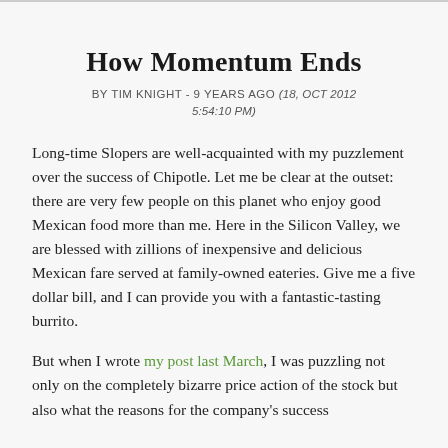How Momentum Ends
BY TIM KNIGHT - 9 YEARS AGO (18, OCT 2012 5:54:10 PM)
Long-time Slopers are well-acquainted with my puzzlement over the success of Chipotle. Let me be clear at the outset: there are very few people on this planet who enjoy good Mexican food more than me. Here in the Silicon Valley, we are blessed with zillions of inexpensive and delicious Mexican fare served at family-owned eateries. Give me a five dollar bill, and I can provide you with a fantastic-tasting burrito.
But when I wrote my post last March, I was puzzling not only on the completely bizarre price action of the stock but also what the reasons for the company's success